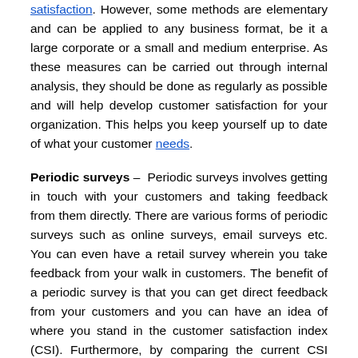satisfaction. However, some methods are elementary and can be applied to any business format, be it a large corporate or a small and medium enterprise. As these measures can be carried out through internal analysis, they should be done as regularly as possible and will help develop customer satisfaction for your organization. This helps you keep yourself up to date of what your customer needs.
Periodic surveys – Periodic surveys involves getting in touch with your customers and taking feedback from them directly. There are various forms of periodic surveys such as online surveys, email surveys etc. You can even have a retail survey wherein you take feedback from your walk in customers. The benefit of a periodic survey is that you can get direct feedback from your customers and you can have an idea of where you stand in the customer satisfaction index (CSI). Furthermore, by comparing the current CSI with the